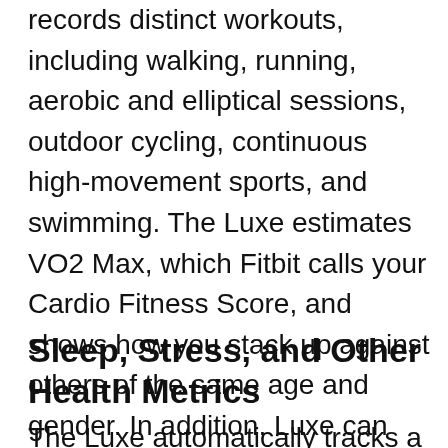records distinct workouts, including walking, running, aerobic and elliptical sessions, outdoor cycling, continuous high-movement sports, and swimming. The Luxe estimates VO2 Max, which Fitbit calls your Cardio Fitness Score, and shows how you stack up against others of the same age and gender. In addition, Luxe can poke you to stay active if you've been stationary for too long. If you qualify for Reminders to Move, it will suggest 10 minutes before the hour if you haven't yet attained the recommended 250 steps.
Sleep, Stress, and Other Health Metrics
The Luxe automatically tracks a wide light...